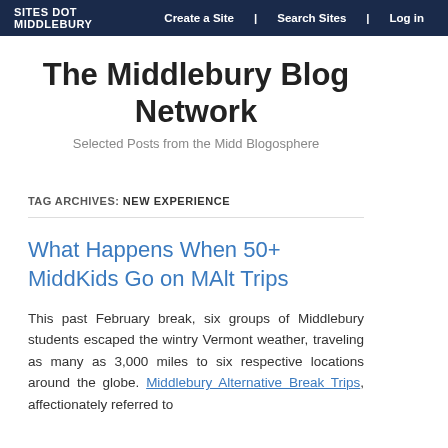SITES DOT MIDDLEBURY | Create a Site | Search Sites | Log in
The Middlebury Blog Network
Selected Posts from the Midd Blogosphere
TAG ARCHIVES: NEW EXPERIENCE
What Happens When 50+ MiddKids Go on MAlt Trips
This past February break, six groups of Middlebury students escaped the wintry Vermont weather, traveling as many as 3,000 miles to six respective locations around the globe. Middlebury Alternative Break Trips, affectionately referred to